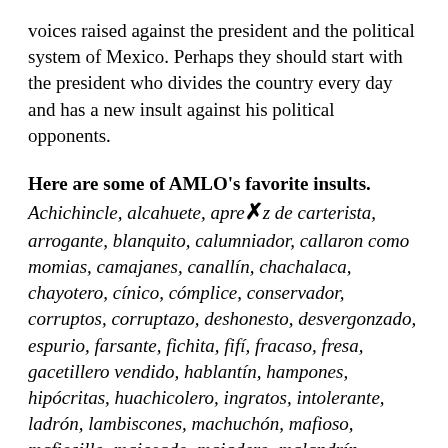voices raised against the president and the political system of Mexico. Perhaps they should start with the president who divides the country every day and has a new insult against his political opponents.
Here are some of AMLO's favorite insults.
Achichincle, alcahuete, aprendiz de carterista, arrogante, blanquito, calumniador, callaron como momias, camajanes, canallín, chachalaca, chayotero, cínico, cómplice, conservador, corruptos, corruptazo, deshonesto, desvergonzado, espurio, farsante, fichita, fifí, fracaso, fresa, gacetillero vendido, hablantín, hampones, hipócritas, huachicolero, ingratos, intolerante, ladrón, lambiscones, machuchón, mafioso, mafiosillo, maiceado, majadero, malandrín, malandro, maleante,